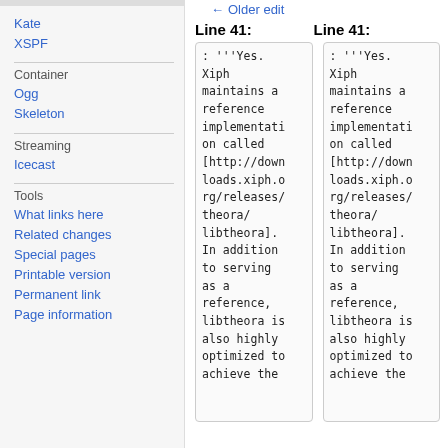Kate
XSPF
Container
Ogg
Skeleton
Streaming
Icecast
Tools
What links here
Related changes
Special pages
Printable version
Permanent link
Page information
← Older edit
Line 41:
Line 41:
: '''Yes. Xiph maintains a reference implementation called [http://downloads.xiph.org/releases/theora/ libtheora]. In addition to serving as a reference, libtheora is also highly optimized to achieve the
: '''Yes. Xiph maintains a reference implementation called [http://downloads.xiph.org/releases/theora/ libtheora]. In addition to serving as a reference, libtheora is also highly optimized to achieve the